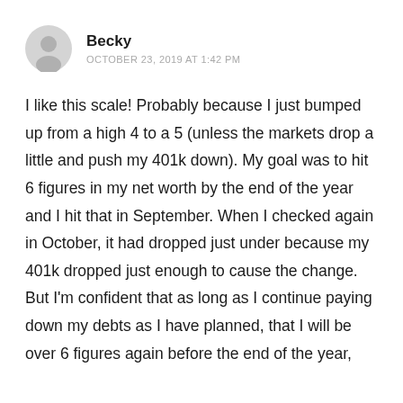Becky
OCTOBER 23, 2019 AT 1:42 PM
I like this scale! Probably because I just bumped up from a high 4 to a 5 (unless the markets drop a little and push my 401k down). My goal was to hit 6 figures in my net worth by the end of the year and I hit that in September. When I checked again in October, it had dropped just under because my 401k dropped just enough to cause the change. But I'm confident that as long as I continue paying down my debts as I have planned, that I will be over 6 figures again before the end of the year, and by the end of that year, I'll be at 6+.